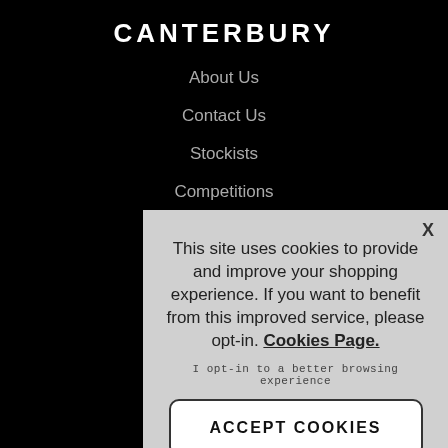CANTERBURY
About Us
Contact Us
Stockists
Competitions
Sponsorships
Gift Vouchers
This site uses cookies to provide and improve your shopping experience. If you want to benefit from this improved service, please opt-in. Cookies Page.
I opt-in to a better browsing experience
ACCEPT COOKIES